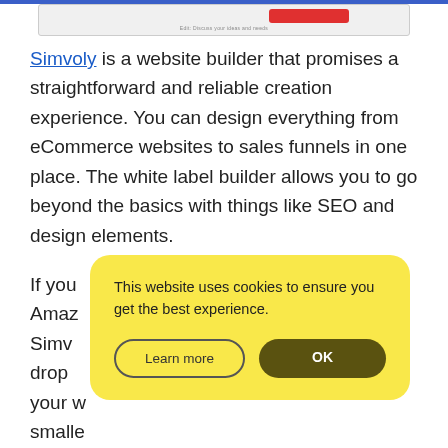[Figure (screenshot): Partial screenshot of a website interface showing a red button element and small text at the bottom]
Simvoly is a website builder that promises a straightforward and reliable creation experience. You can design everything from eCommerce websites to sales funnels in one place. The white label builder allows you to go beyond the basics with things like SEO and design elements.
If you [text hidden by overlay] ity of Amaz[text hidden] Simv[text hidden] d-drop [text hidden] over your w[text hidden] smalle[text hidden] agencies.
[Figure (screenshot): Cookie consent popup with yellow background saying 'This website uses cookies to ensure you get the best experience.' with 'Learn more' and 'OK' buttons]